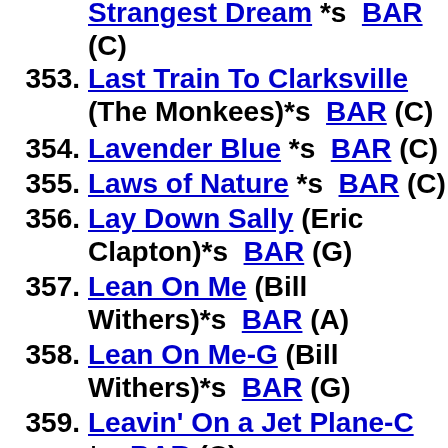Strangest Dream *s BAR (C)
353. Last Train To Clarksville (The Monkees)*s BAR (C)
354. Lavender Blue *s BAR (C)
355. Laws of Nature *s BAR (C)
356. Lay Down Sally (Eric Clapton)*s BAR (G)
357. Lean On Me (Bill Withers)*s BAR (A)
358. Lean On Me-G (Bill Withers)*s BAR (G)
359. Leavin' On a Jet Plane-C *s BAR (C)
360. Leavin' On a Jet Plane-F (F)
361. Let 'Em In (Paul McCartney and Wings)*s BAR (D)
362. Let It Snow, Let It Snow, Let...